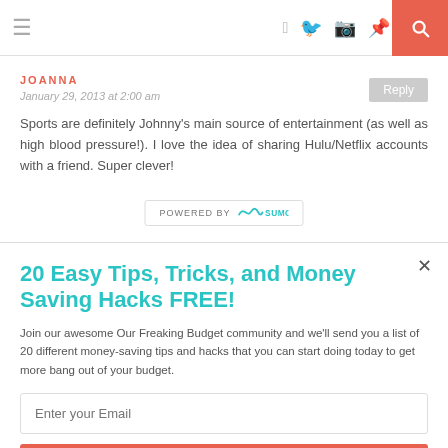≡  f  𝕥  📷   Pinterest  ♥  RSS  🔍
JOANNA
January 29, 2013 at 2:00 am
Sports are definitely Johnny's main source of entertainment (as well as high blood pressure!). I love the idea of sharing Hulu/Netflix accounts with a friend. Super clever!
[Figure (logo): POWERED BY SUMO banner]
20 Easy Tips, Tricks, and Money Saving Hacks FREE!
Join our awesome Our Freaking Budget community and we'll send you a list of 20 different money-saving tips and hacks that you can start doing today to get more bang out of your budget.
Enter your Email
Sign Me Up!